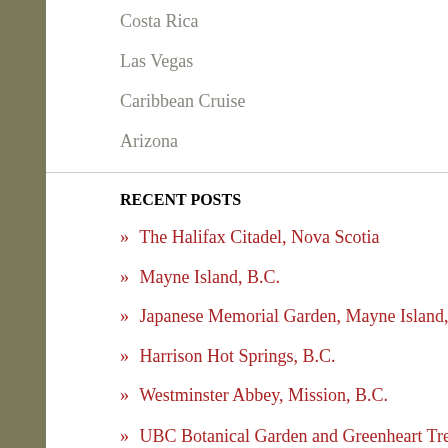Costa Rica
Las Vegas
Caribbean Cruise
Arizona
RECENT POSTS
» The Halifax Citadel, Nova Scotia
» Mayne Island, B.C.
» Japanese Memorial Garden, Mayne Island, B.C.
» Harrison Hot Springs, B.C.
» Westminster Abbey, Mission, B.C.
» UBC Botanical Garden and Greenheart TreeWalk, Vancouver, B.C.
» Queen Elizabeth Park, Vancouver, B.C.